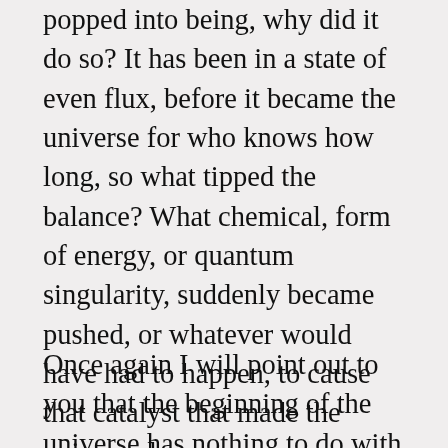popped into being, why did it do so? It has been in a state of even flux, before it became the universe for who knows how long, so what tipped the balance? What chemical, form of energy, or quantum singularity, suddenly became pushed, or whatever would have had to happen, to cause that catalyst that made the universe.]
Once again I will point out to you that the beginning of the universe has nothing to do with the theory of evolution. Once again you have rambled on and gone from one topic to the other as if they are